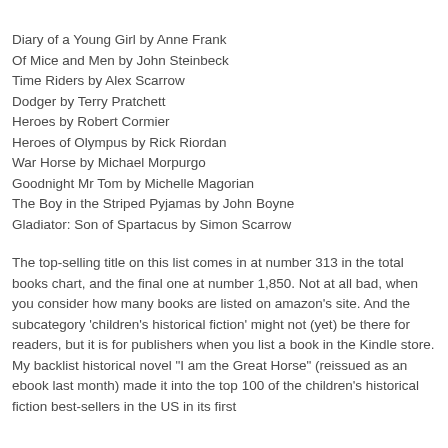Diary of a Young Girl by Anne Frank
Of Mice and Men by John Steinbeck
Time Riders by Alex Scarrow
Dodger by Terry Pratchett
Heroes by Robert Cormier
Heroes of Olympus by Rick Riordan
War Horse by Michael Morpurgo
Goodnight Mr Tom by Michelle Magorian
The Boy in the Striped Pyjamas by John Boyne
Gladiator: Son of Spartacus by Simon Scarrow
The top-selling title on this list comes in at number 313 in the total books chart, and the final one at number 1,850. Not at all bad, when you consider how many books are listed on amazon's site. And the subcategory 'children's historical fiction' might not (yet) be there for readers, but it is for publishers when you list a book in the Kindle store. My backlist historical novel "I am the Great Horse" (reissued as an ebook last month) made it into the top 100 of the children's historical fiction best-sellers in the US in its first